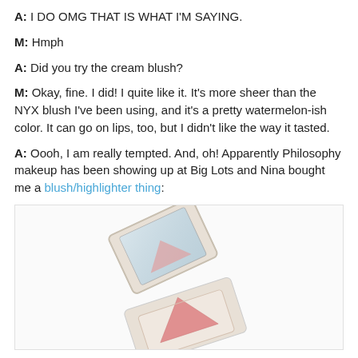A: I DO OMG THAT IS WHAT I'M SAYING.
M: Hmph
A: Did you try the cream blush?
M: Okay, fine. I did! I quite like it. It's more sheer than the NYX blush I've been using, and it's a pretty watermelon-ish color. It can go on lips, too, but I didn't like the way it tasted.
A: Oooh, I am really tempted. And, oh! Apparently Philosophy makeup has been showing up at Big Lots and Nina bought me a blush/highlighter thing:
[Figure (photo): A diamond-shaped Philosophy blush/highlighter compact with a mirror on the lid, showing a pink/salmon triangular blush pan inside, open and lying flat.]